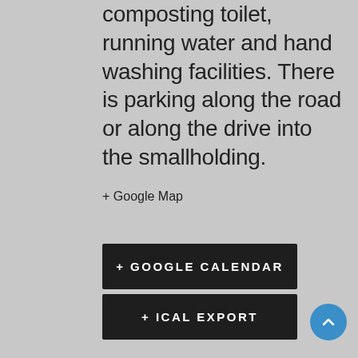composting toilet, running water and hand washing facilities. There is parking along the road or along the drive into the smallholding.
+ Google Map
+ GOOGLE CALENDAR
+ ICAL EXPORT